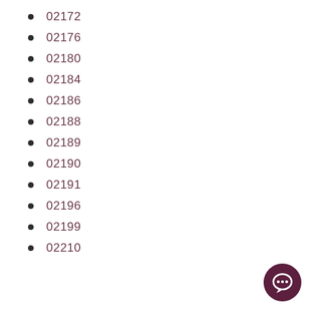02172
02176
02180
02184
02186
02188
02189
02190
02191
02196
02199
02210
[Figure (illustration): Dark purple circular chat/message icon button in the bottom-right corner]